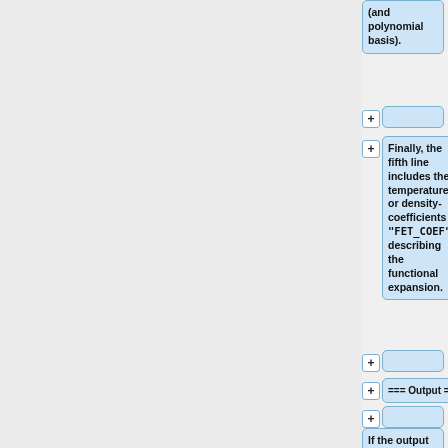(and polynomial basis).
(empty collapsed block)
Finally, the fifth line includes the temperature- or density-coefficients <tt>"FET_COEF"</tt> describing the functional expansion.
(empty collapsed block)
=== Output ===
(empty collapsed block)
If the output